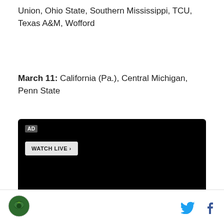Union, Ohio State, Southern Mississippi, TCU, Texas A&M, Wofford
March 11: California (Pa.), Central Michigan, Penn State
[Figure (screenshot): Embedded video player with black background. Shows AD badge in top left, WATCH LIVE › button, play button at bottom left, speaker/volume icon and CC (closed captions) button at bottom right.]
[Figure (logo): Circular logo with green background and bird/eagle silhouette]
[Figure (other): Twitter bird icon (cyan/blue) and Facebook f icon (dark blue) social sharing buttons]